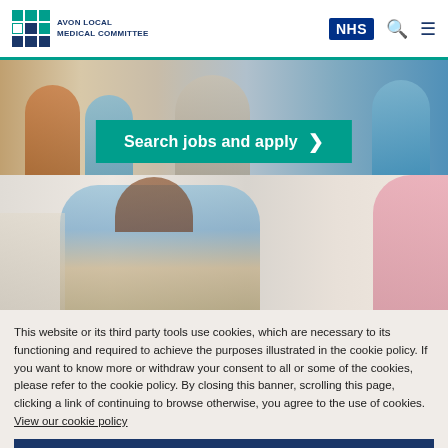AVON LOCAL MEDICAL COMMITTEE | NHS
[Figure (photo): Medical staff / healthcare workers photo with teal 'Search jobs and apply' button overlay]
[Figure (photo): Nurse at desk in medical office photo]
This website or its third party tools use cookies, which are necessary to its functioning and required to achieve the purposes illustrated in the cookie policy. If you want to know more or withdraw your consent to all or some of the cookies, please refer to the cookie policy. By closing this banner, scrolling this page, clicking a link of continuing to browse otherwise, you agree to the use of cookies. View our cookie policy
Read more
Ok